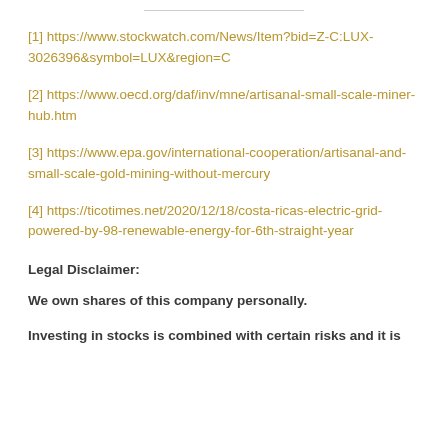[1] https://www.stockwatch.com/News/Item?bid=Z-C:LUX-3026396&symbol=LUX&region=C
[2] https://www.oecd.org/daf/inv/mne/artisanal-small-scale-miner-hub.htm
[3] https://www.epa.gov/international-cooperation/artisanal-and-small-scale-gold-mining-without-mercury
[4] https://ticotimes.net/2020/12/18/costa-ricas-electric-grid-powered-by-98-renewable-energy-for-6th-straight-year
Legal Disclaimer:
We own shares of this company personally.
Investing in stocks is combined with certain risks and it is